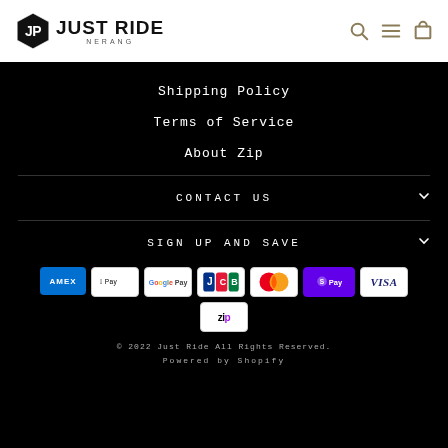[Figure (logo): Just Ride Nerang logo — black hexagon with JP monogram and JUSTRIDE NERANG text]
Shipping Policy
Terms of Service
About Zip
CONTACT US
SIGN UP AND SAVE
[Figure (other): Payment method icons: American Express, Apple Pay, Google Pay, JCB, Mastercard, Shop Pay, Visa, Zip]
© 2022 Just Ride All Rights Reserved.
Powered by Shopify